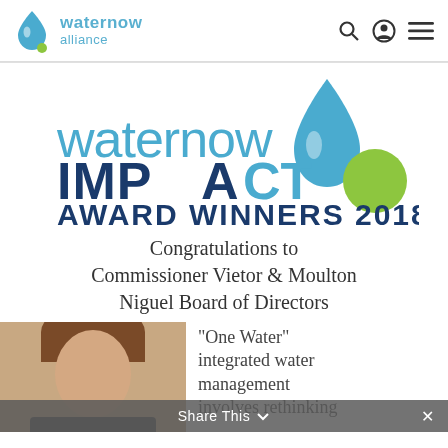waternow alliance
[Figure (logo): WaterNow Impact Award Winners 2018 logo with blue water drop and green circle]
Congratulations to Commissioner Vietor & Moulton Niguel Board of Directors
[Figure (photo): Photo of a person (Commissioner Vietor), partially visible]
"One Water" integrated water management involves rethinking
Share This